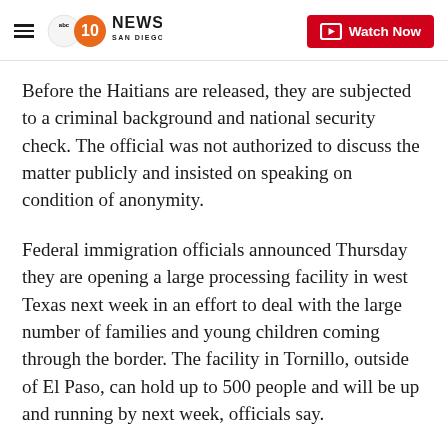10 News San Diego | Watch Now
Before the Haitians are released, they are subjected to a criminal background and national security check. The official was not authorized to discuss the matter publicly and insisted on speaking on condition of anonymity.
Federal immigration officials announced Thursday they are opening a large processing facility in west Texas next week in an effort to deal with the large number of families and young children coming through the border. The facility in Tornillo, outside of El Paso, can hold up to 500 people and will be up and running by next week, officials say.